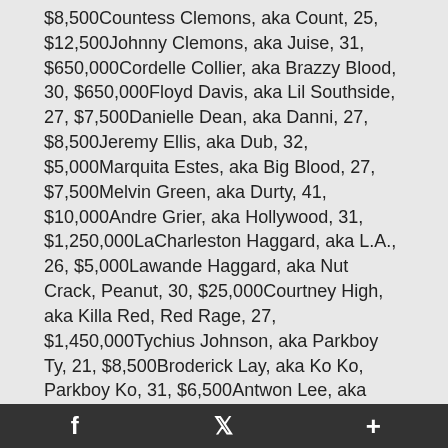$8,500Countess Clemons, aka Count, 25, $12,500Johnny Clemons, aka Juise, 31, $650,000Cordelle Collier, aka Brazzy Blood, 30, $650,000Floyd Davis, aka Lil Southside, 27, $7,500Danielle Dean, aka Danni, 27, $8,500Jeremy Ellis, aka Dub, 32, $5,000Marquita Estes, aka Big Blood, 27, $7,500Melvin Green, aka Durty, 41, $10,000Andre Grier, aka Hollywood, 31, $1,250,000LaCharleston Haggard, aka L.A., 26, $5,000Lawande Haggard, aka Nut Crack, Peanut, 30, $25,000Courtney High, aka Killa Red, Red Rage, 27, $1,450,000Tychius Johnson, aka Parkboy Ty, 21, $8,500Broderick Lay, aka Ko Ko, Parkboy Ko, 31, $6,500Antwon Lee, aka Funeral Home, 28, $20,000Kerry McKinney, aka Lil Kerry, 30, $5,000Eric McReynolds, aka Donkie, 27, $8,500Dexter Mayes, aka Lil Dexter, 29, $2,500Montez Murphy, aka Tezzo Park, So Icey, 25, $30,000Jermaine Myricks, aka Jermaine Myrisk, Gator, 31, $15,000Clarence Orton, aka BJ
f  twitter  +